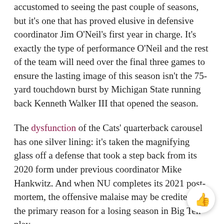accustomed to seeing the past couple of seasons, but it's one that has proved elusive in defensive coordinator Jim O'Neil's first year in charge. It's exactly the type of performance O'Neil and the rest of the team will need over the final three games to ensure the lasting image of this season isn't the 75-yard touchdown burst by Michigan State running back Kenneth Walker III that opened the season.
The dysfunction of the Cats' quarterback carousel has one silver lining: it's taken the magnifying glass off a defense that took a step back from its 2020 form under previous coordinator Mike Hankwitz. And when NU completes its 2021 post-mortem, the offensive malaise may be credited as the primary reason for a losing season in Big Ten play.
But the Cats' program is built around its defense, and whether due to the coaching change, the graduation of NFL talents or miscommunication, NU has not lived up to its standard on that side of the ball. Nebraska, which fired h